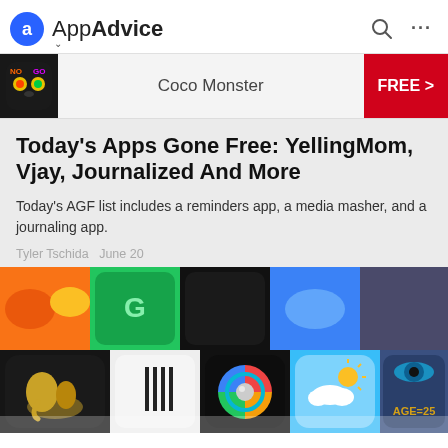AppAdvice
[Figure (infographic): Coco Monster app promo banner with app icon on left, title 'Coco Monster' in center, and red FREE button on right]
Today's Apps Gone Free: YellingMom, Vjay, Journalized And More
Today's AGF list includes a reminders app, a media masher, and a journaling app.
Tyler Tschida   June 20
[Figure (photo): A collage of app icons including a golden elephant, a barcode-style app, a color wheel camera app, a weather app with cloud and sun, and an eye age detection app showing AGE=25]
Today's Apps Gone Free: Soctics League,